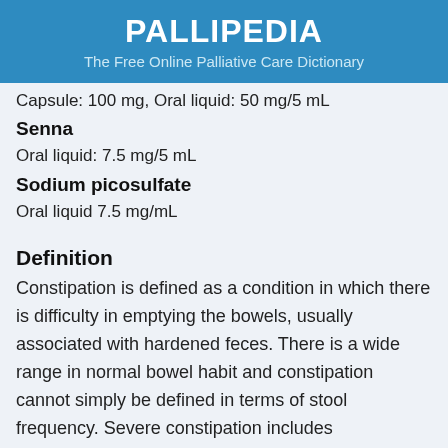PALLIPEDIA
The Free Online Palliative Care Dictionary
Capsule: 100 mg, Oral liquid: 50 mg/5 mL
Senna
Oral liquid: 7.5 mg/5 mL
Sodium picosulfate
Oral liquid 7.5 mg/mL
Definition
Constipation is defined as a condition in which there is difficulty in emptying the bowels, usually associated with hardened feces. There is a wide range in normal bowel habit and constipation cannot simply be defined in terms of stool frequency. Severe constipation includes